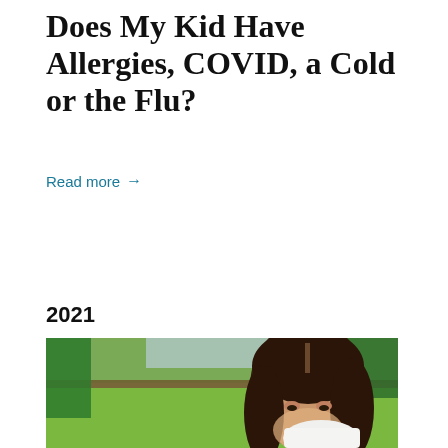Does My Kid Have Allergies, COVID, a Cold or the Flu?
Read more →
2021
[Figure (photo): A young girl with dark hair standing outdoors on a green lawn, holding a tissue to her nose, appearing to sneeze or wipe her nose. Background shows blurred green trees and a structure.]